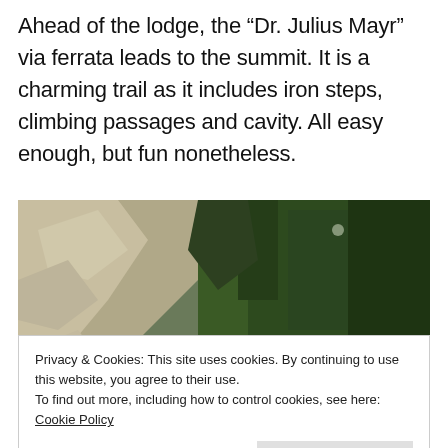Ahead of the lodge, the “Dr. Julius Mayr” via ferrata leads to the summit. It is a charming trail as it includes iron steps, climbing passages and cavity. All easy enough, but fun nonetheless.
[Figure (photo): Outdoor mountain/forest scene showing a rocky hillside with trees and a person with raised hand visible at the bottom. A via ferrata route appears to be shown.]
Privacy & Cookies: This site uses cookies. By continuing to use this website, you agree to their use.
To find out more, including how to control cookies, see here: Cookie Policy
Close and accept